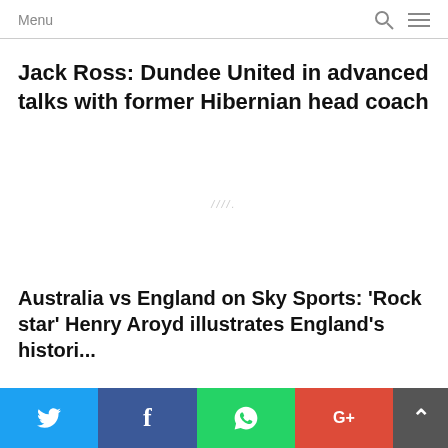Menu
Jack Ross: Dundee United in advanced talks with former Hibernian head coach
[Figure (other): Advertisement placeholder area with small italic text]
Australia vs England on Sky Sports: ‘Rock star’ Henry Aroyd illustrates England’s historical...